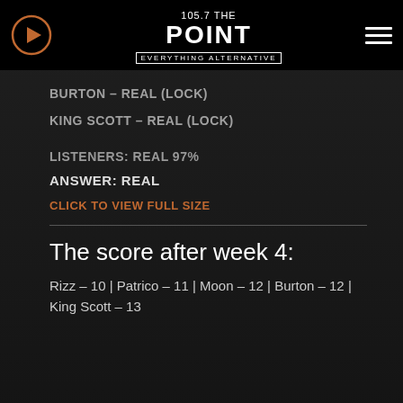105.7 THE POINT — EVERYTHING ALTERNATIVE
PATRICO – REAL (LOCK)
MOON – REAL (LOCK)
BURTON – REAL (LOCK)
KING SCOTT – REAL (LOCK)
LISTENERS: REAL 97%
ANSWER: REAL
CLICK TO VIEW FULL SIZE
The score after week 4:
Rizz – 10 | Patrico – 11 | Moon – 12 | Burton – 12 | King Scott – 13